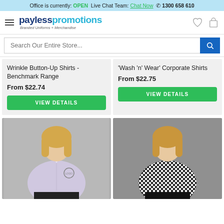Office is currently: OPEN  Live Chat Team: Chat Now  📞 1300 658 610
[Figure (logo): Payless Promotions logo with tagline Branded Uniforms + Merchandise]
Search Our Entire Store...
Wrinkle Button-Up Shirts - Benchmark Range
From $22.74
VIEW DETAILS
'Wash 'n' Wear' Corporate Shirts
From $22.75
VIEW DETAILS
[Figure (photo): Woman wearing a light purple short-sleeve button-up shirt with a logo embroidered on the chest, standing against grey background]
[Figure (photo): Woman wearing a black and white checkered long-sleeve button-up shirt, standing against grey background]